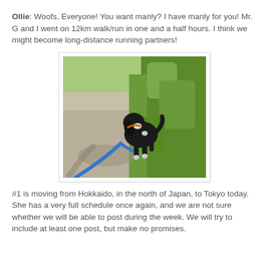Ollie: Woofs, Everyone! You want manly? I have manly for you! Mr. G and I went on 12km walk/run in one and a half hours. I think we might become long-distance running partners!
[Figure (photo): A black and white dog on a blue leash standing at the edge of a path next to green shrubs, with the dog's shadow visible on the ground.]
#1 is moving from Hokkaido, in the north of Japan, to Tokyo today. She has a very full schedule once again, and we are not sure whether we will be able to post during the week. We will try to include at least one post, but make no promises.